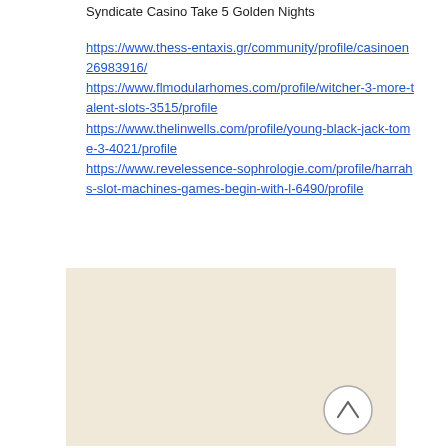Syndicate Casino Take 5 Golden Nights
https://www.thess-entaxis.gr/community/profile/casinoen26983916/
https://www.flmodularhomes.com/profile/witcher-3-more-talent-slots-3515/profile
https://www.thelinwells.com/profile/young-black-jack-tome-3-4021/profile
https://www.revelessence-sophrologie.com/profile/harrahs-slot-machines-games-begin-with-l-6490/profile
[Figure (other): Beige/tan colored map or background area with a circular back-to-top arrow button in the lower right corner]